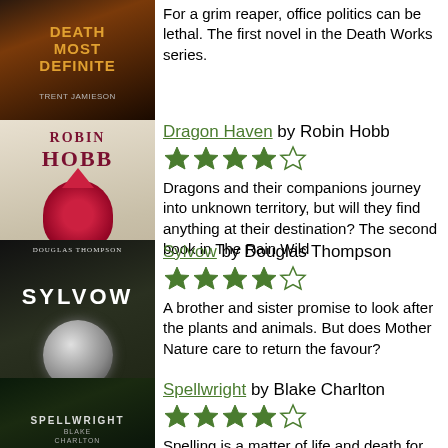[Figure (illustration): Book cover for 'Death Most Definite' by Trent Jamieson, partially visible at top]
For a grim reaper, office politics can be lethal. The first novel in the Death Works series.
Dragon Haven by Robin Hobb
★★★★☆
Dragons and their companions journey into unknown territory, but will they find anything at their destination? The second book in The Rain Wild Chronicles.
Sylvow by Douglas Thompson
★★★★☆
A brother and sister promise to look after the plants and animals. But does Mother Nature care to return the favour?
Spellwright by Blake Charlton
★★★★☆
Spelling is a matter of life and death for apprentice wizard Nicodemus Weal.